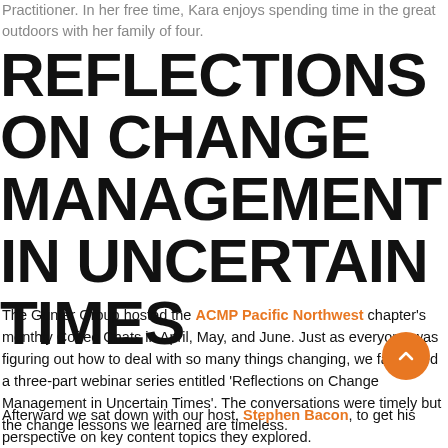Practitioner. In her free time, Kara enjoys spending time in the great outdoors with her family of four.
REFLECTIONS ON CHANGE MANAGEMENT IN UNCERTAIN TIMES
The Gunter Group hosted the ACMP Pacific Northwest chapter's monthly Coffee Chats in April, May, and June. Just as everyone was figuring out how to deal with so many things changing, we facilitated a three-part webinar series entitled 'Reflections on Change Management in Uncertain Times'. The conversations were timely but the change lessons we learned are timeless.
Afterward we sat down with our host, Stephen Bacon, to get his perspective on key content topics they explored.